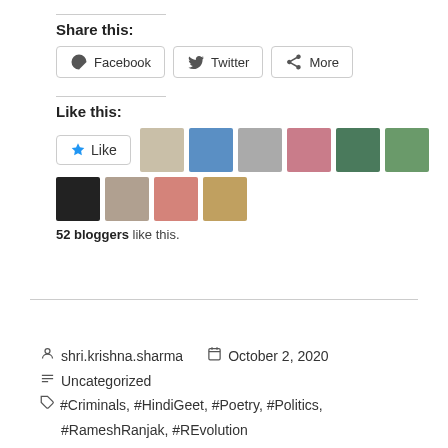Share this:
Facebook  Twitter  More
Like this:
52 bloggers like this.
shri.krishna.sharma  October 2, 2020
Uncategorized
#Criminals, #HindiGeet, #Poetry, #Politics, #RameshRanjak, #REvolution